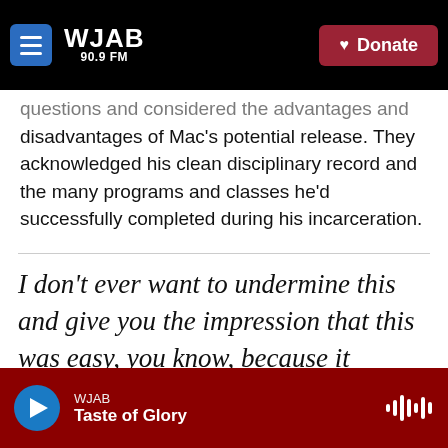WJAB 90.9 FM — Donate
questions and considered the advantages and disadvantages of Mac's potential release. They acknowledged his clean disciplinary record and the many programs and classes he'd successfully completed during his incarceration.
I don't ever want to undermine this and give you the impression that this was easy, you know, because it wasn't. This is not something easy to deal with, you know, but when you consider yourself a
WJAB — Taste of Glory